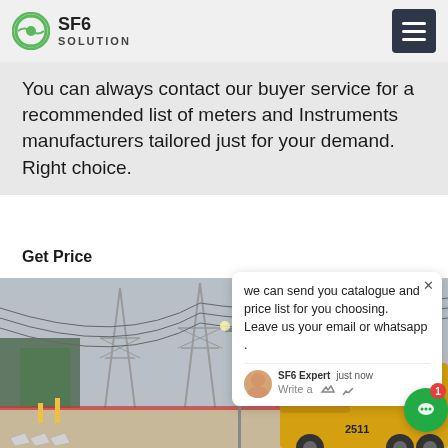SF6 SOLUTION
You can always contact our buyer service for a recommended list of meters and Instruments manufacturers tailored just for your demand. Right choice.
Get Price
[Figure (photo): Electrical power substation with high-voltage transmission towers and cables, a yellow utility truck in the foreground on a service road]
we can send you catalogue and price list for you choosing.
Leave us your email or whatsapp .
SF6 Expert    just now
Write a